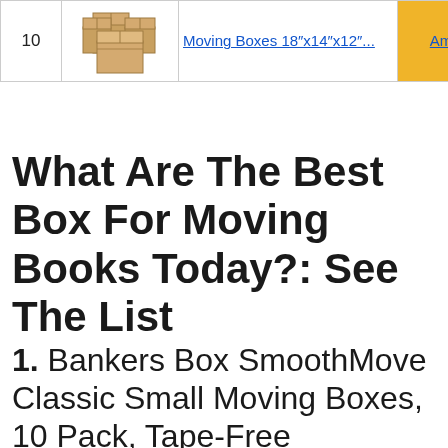| # | Image | Product | Button |
| --- | --- | --- | --- |
| 10 | [box image] | Moving Boxes 18″x14″x12″... | Am... |
What Are The Best Box For Moving Books Today?: See The List
1. Bankers Box SmoothMove Classic Small Moving Boxes, 10 Pack, Tape-Free Assembly, Easy Carry Handles, 10″ x 12″ x 15″